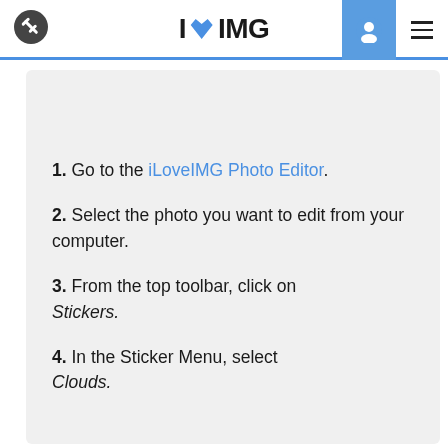I ❤ IMG
1. Go to the iLoveIMG Photo Editor.
2. Select the photo you want to edit from your computer.
3. From the top toolbar, click on Stickers.
4. In the Sticker Menu, select Clouds.